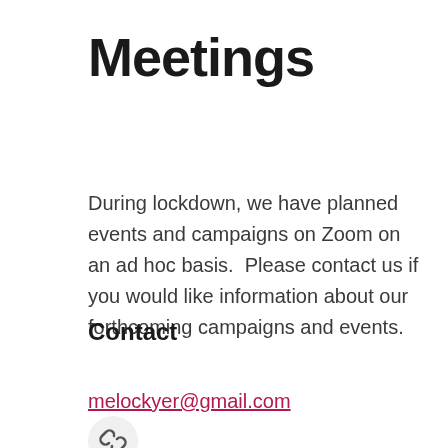Meetings
During lockdown, we have planned events and campaigns on Zoom on an ad hoc basis.  Please contact us if you would like information about our forthcoming campaigns and events.
Contact
melockyer@gmail.com
[Figure (other): Small circular icon with a chain/link symbol in dark gray on a light gray circle background]